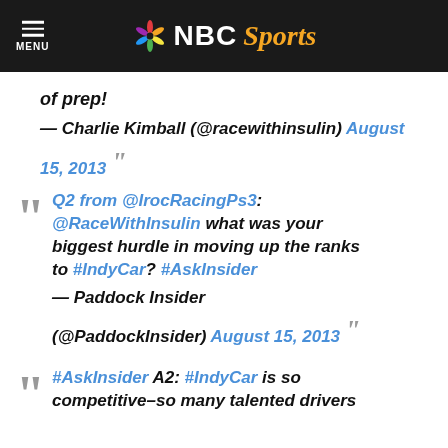MENU | NBC Sports
of prep!
— Charlie Kimball (@racewithinsulin) August 15, 2013
Q2 from @IrocRacingPs3: @RaceWithInsulin what was your biggest hurdle in moving up the ranks to #IndyCar? #AskInsider
— Paddock Insider (@PaddockInsider) August 15, 2013
#AskInsider A2: #IndyCar is so competitive–so many talented drivers